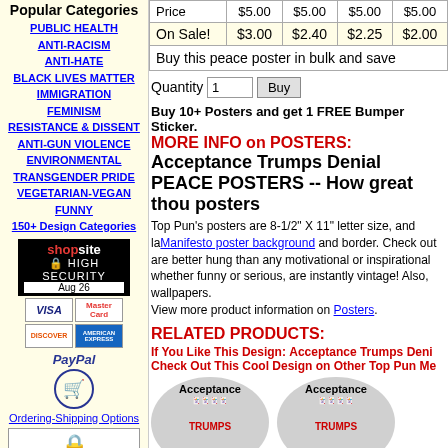Popular Categories
PUBLIC HEALTH
ANTI-RACISM
ANTI-HATE
BLACK LIVES MATTER
IMMIGRATION
FEMINISM
RESISTANCE & DISSENT
ANTI-GUN VIOLENCE
ENVIRONMENTAL
TRANSGENDER PRIDE
VEGETARIAN-VEGAN
FUNNY
150+ Design Categories
[Figure (logo): ShopSite HIGH SECURITY lock badge with date Aug 26]
[Figure (logo): Payment icons: VISA, MasterCard, Discover, American Express, PayPal]
Ordering-Shipping Options
[Figure (logo): Verified by Starfield Secure badge]
Top Products
Buttons
Bumper Stickers
Stickers
|  | 1 | 5 | 10 | 25 |
| --- | --- | --- | --- | --- |
| Price | $5.00 | $5.00 | $5.00 | $5.00 |
| On Sale! | $3.00 | $2.40 | $2.25 | $2.00 |
Buy this peace poster in bulk and save
Quantity 1  Buy
Buy 10+ Posters and get 1 FREE Bumper Sticker.
MORE INFO on POSTERS:
Acceptance Trumps Denial PEACE POSTERS -- How great thou posters
Top Pun's posters are 8-1/2" X 11" letter size, and large Manifesto poster background and border. Check out are better hung than any motivational or inspirational whether funny or serious, are instantly vintage! Also, wallpapers.
View more product information on Posters.
RELATED PRODUCTS:
If You Like This Design: Acceptance Trumps Deni Check Out This Cool Design on Other Top Pun Me
[Figure (photo): Acceptance Trumps product image - playing cards circular design]
[Figure (photo): Acceptance Trumps product image - playing cards circular design (second)]